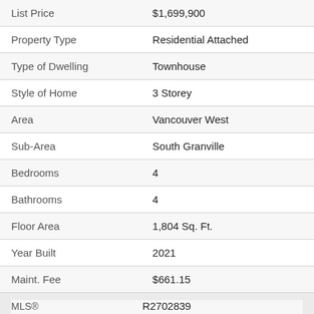| Field | Value |
| --- | --- |
| List Price | $1,699,900 |
| Property Type | Residential Attached |
| Type of Dwelling | Townhouse |
| Style of Home | 3 Storey |
| Area | Vancouver West |
| Sub-Area | South Granville |
| Bedrooms | 4 |
| Bathrooms | 4 |
| Floor Area | 1,804 Sq. Ft. |
| Year Built | 2021 |
| Maint. Fee | $661.15 |
| MLS® Number | R2702839 |